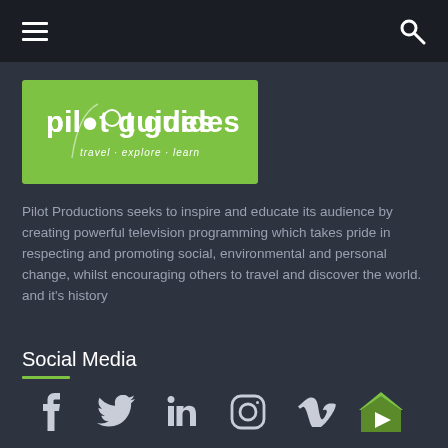[Figure (logo): Navigation bar with hamburger menu icon on left and search icon on right, dark background]
[Figure (logo): Pilot Guides logo — green rectangle with white text 'pilot guides' and tagline 'travel · explore · learn']
Pilot Productions seeks to inspire and educate its audience by creating powerful television programming which takes pride in respecting and promoting social, environmental and personal change, whilst encouraging others to travel and discover the world. and it's history
Social Media
[Figure (infographic): Social media icons row: Facebook, Twitter, LinkedIn, Instagram, Vimeo, and a green YouTube-style play button icon]